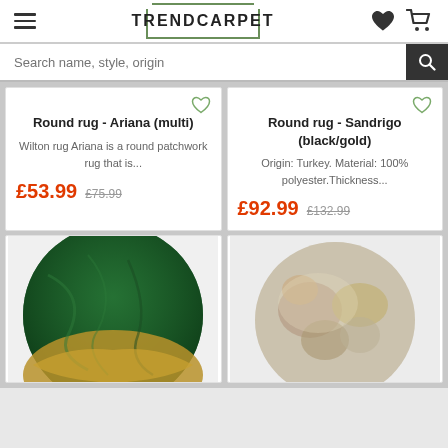[Figure (screenshot): TrendCarpet website header with hamburger menu, logo, heart and cart icons]
Search name, style, origin
Round rug - Ariana (multi)
Wilton rug Ariana is a round patchwork rug that is...
£53.99  £75.99
Round rug - Sandrigo (black/gold)
Origin: Turkey. Material: 100% polyester.Thickness...
£92.99  £132.99
[Figure (photo): Round green marble and gold patchwork rug photo]
[Figure (photo): Round grey and gold abstract pattern rug photo]